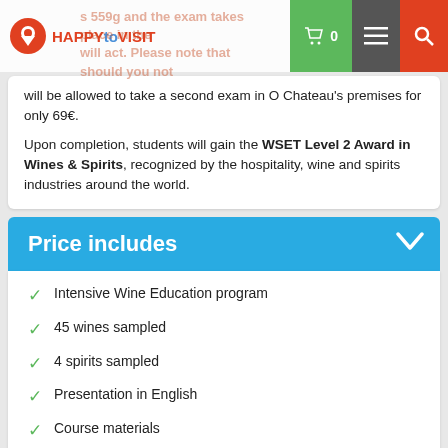HAPPYtoVISIT
will be allowed to take a second exam in O Chateau's premises for only 69€.
Upon completion, students will gain the WSET Level 2 Award in Wines & Spirits, recognized by the hospitality, wine and spirits industries around the world.
Price includes
Intensive Wine Education program
45 wines sampled
4 spirits sampled
Presentation in English
Course materials
Your WSET Level 2 certificate mailed to your home address